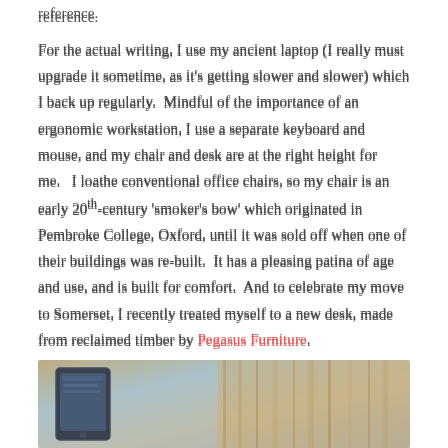reference.
For the actual writing, I use my ancient laptop (I really must upgrade it sometime, as it's getting slower and slower) which I back up regularly.  Mindful of the importance of an ergonomic workstation, I use a separate keyboard and mouse, and my chair and desk are at the right height for me.   I loathe conventional office chairs, so my chair is an early 20th-century 'smoker's bow' which originated in Pembroke College, Oxford, until it was sold off when one of their buildings was re-built.  It has a pleasing patina of age and use, and is built for comfort.  And to celebrate my move to Somerset, I recently treated myself to a new desk, made from reclaimed timber by Pegasus Furniture.
[Figure (photo): Photo of a tablet/laptop on a wooden desk surface, partially visible at the bottom of the page.]